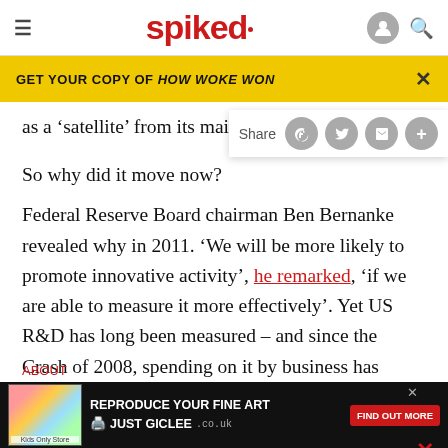spiked
GET YOUR COPY OF HOW WOKE WON
as a ‘satellite’ from its main acco
So why did it move now?
Federal Reserve Board chairman Ben Bernanke revealed why in 2011. ‘We will be more likely to promote innovative activity’, he remarked, ‘if we are able to measure it more effectively’. Yet US R&D has long been measured – and since the Crash of 2008, spending on it by business has actually declined
[Figure (screenshot): Advertisement overlay: REPRODUCE YOUR FINE ART / JUST GICLEE with Find Out More button]